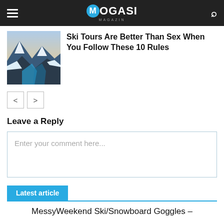MOGASI MAGAZIN
Ski Tours Are Better Than Sex When You Follow These 10 Rules
< >
Leave a Reply
Enter your comment here...
Latest article
MessyWeekend Ski/Snowboard Goggles –